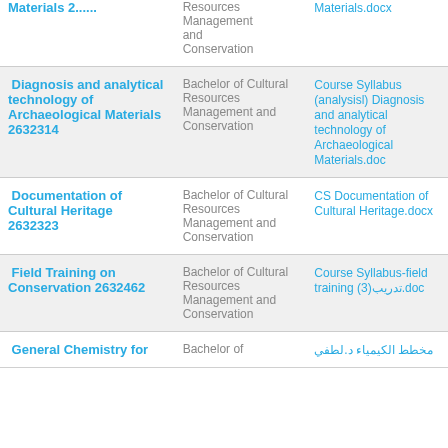| Course | Program | Document |
| --- | --- | --- |
| [Materials 2...] | Bachelor of Cultural Resources Management and Conservation | Materials.docx |
| Diagnosis and analytical technology of Archaeological Materials 2632314 | Bachelor of Cultural Resources Management and Conservation | Course Syllabus (analysisl) Diagnosis and analytical technology of Archaeological Materials.doc |
| Documentation of Cultural Heritage 2632323 | Bachelor of Cultural Resources Management and Conservation | CS Documentation of Cultural Heritage.docx |
| Field Training on Conservation 2632462 | Bachelor of Cultural Resources Management and Conservation | Course Syllabus-field training (3)تدريب.doc |
| General Chemistry for... | Bachelor of... | مخطط الكيمياء د.لطفي... |